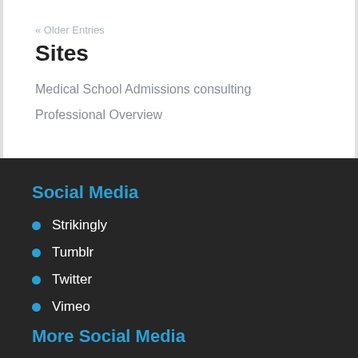« Older Entries
Sites
Medical School Admissions consulting
Professional Overview
Social Media
Strikingly
Tumblr
Twitter
Vimeo
More Social Media